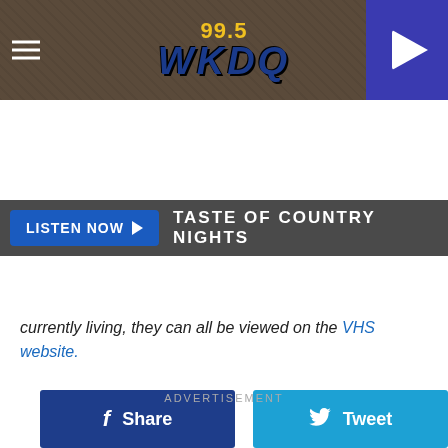99.5 WKDQ
LISTEN NOW ▶  TASTE OF COUNTRY NIGHTS
[Figure (other): Facebook Share button and Twitter Tweet button]
currently living, they can all be viewed on the VHS website.
ADVERTISEMENT